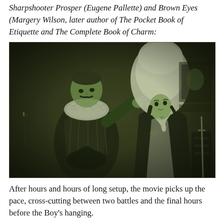Sharpshooter Prosper (Eugene Pallette) and Brown Eyes (Margery Wilson, later author of The Pocket Book of Etiquette and The Complete Book of Charm):
[Figure (photo): A black and white / sepia-toned vintage film still showing two actors in period costume. On the left, a man wearing a ruffled collar and ornate doublet holds a dark hat and gestures with his right hand. On the right, a woman in a large white bonnet and dark dress looks up at him. The image has a greenish-sepia tint typical of early silent film photography.]
After hours and hours of long setup, the movie picks up the pace, cross-cutting between two battles and the final hours before the Boy's hanging.